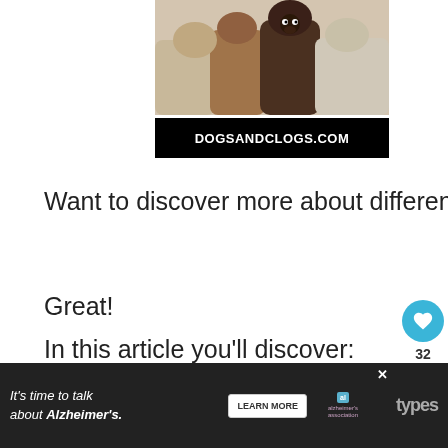[Figure (photo): Group of dogs photographed from front, various breeds including chihuahuas, looking downward at camera]
DOGSANDCLOGS.COM
Want to discover more about different Chihuahua types?
Great!
In this article you'll discover:
Everything you need to know about types
[Figure (screenshot): Ad banner: It's time to talk about Alzheimer's. Learn More button. Alzheimer's association logo.]